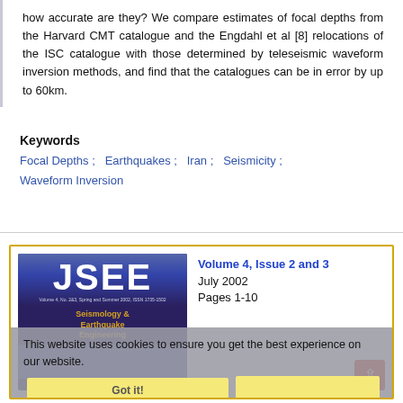how accurate are they? We compare estimates of focal depths from the Harvard CMT catalogue and the Engdahl et al [8] relocations of the ISC catalogue with those determined by teleseismic waveform inversion methods, and find that the catalogues can be in error by up to 60km.
Keywords
Focal Depths ; Earthquakes ; Iran ; Seismicity ; Waveform Inversion
[Figure (other): JSEE journal cover showing Volume 4, Issue 2 and 3, July 2002, Pages 1-10, with a cookie consent overlay banner and a back-to-top button.]